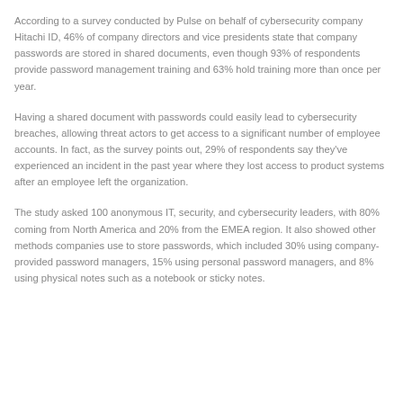According to a survey conducted by Pulse on behalf of cybersecurity company Hitachi ID, 46% of company directors and vice presidents state that company passwords are stored in shared documents, even though 93% of respondents provide password management training and 63% hold training more than once per year.
Having a shared document with passwords could easily lead to cybersecurity breaches, allowing threat actors to get access to a significant number of employee accounts. In fact, as the survey points out, 29% of respondents say they've experienced an incident in the past year where they lost access to product systems after an employee left the organization.
The study asked 100 anonymous IT, security, and cybersecurity leaders, with 80% coming from North America and 20% from the EMEA region. It also showed other methods companies use to store passwords, which included 30% using company-provided password managers, 15% using personal password managers, and 8% using physical notes such as a notebook or sticky notes.